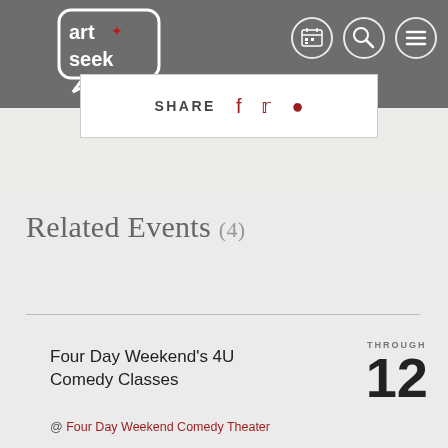[Figure (logo): Art+Seek logo - white speech bubble with 'art+seek' text inside on gray background]
[Figure (infographic): Navigation icons: calendar, search, and menu (hamburger) circles in white outline on gray header]
SHARE
Related Events (4)
Four Day Weekend's 4U Comedy Classes
@ Four Day Weekend Comedy Theater
THROUGH 12